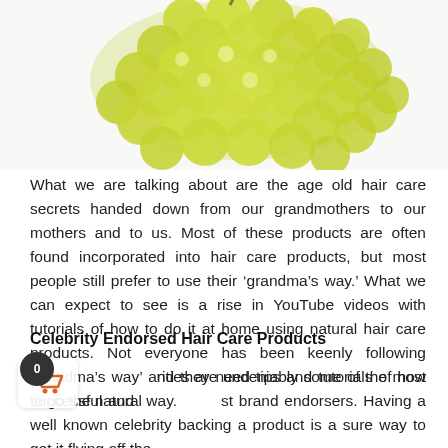[Figure (photo): Green grapes cluster on white background, photographed from above, partially cropped at top of page.]
What we are talking about are the age old hair care secrets handed down from our grandmothers to our mothers and to us. Most of these products are often found incorporated into hair care products, but most people still prefer to use their ‘grandma’s way.’ What we can expect to see is a rise in YouTube videos with tutorials of how to do it at home using natural hair care products. Not everyone has been keenly following ‘grandma’s way’ and they need tips and tutorials of how to go the natural way.
Celebrity Endorsed Hair Care Products
Celebrities are undeniably some of the most successful and best brand endorsers. Having a well known celebrity backing a product is a sure way to get it flying off the